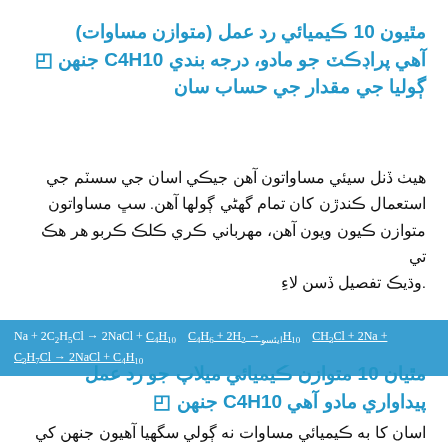مٿيون 10 ڪيميائي رد عمل (متوازن مساوات) آهي پراڊڪٽ جو مادو، درجه بندي C4H10 جنهن ڳوليا جي مقدار جي حساب سان
هيٺ ڏنل سيئي مساواتون آهن جيڪي اسان جي سسٽم جي استعمال ڪندڙن کان تمام گهڻي ڳولها آهن. سڀ مساواتون متوازن ڪيون ويون آهن، مهرباني ڪري ڪلڪ ڪربو هر هڪ تي .وڌيڪ تفصيل ڏسن لاءِ
مٿيان 10 متوازن ڪيميائي ميلاپ جو رد عمل پيداواري مادو آهي C4H10 جنهن ◰
اسان کا به ڪيميائي مساوات نه ڳولي سگهيا آهيون جنهن کي ڳولا...